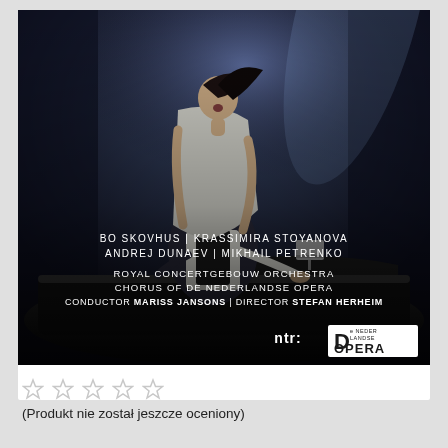[Figure (photo): Opera performance photo showing two singers at a piano. Text overlay lists: BO SKOVHUS | KRASSIMIRA STOYANOVA, ANDREJ DUNAEV | MIKHAIL PETRENKO, ROYAL CONCERTGEBOUW ORCHESTRA, CHORUS OF DE NEDERLANDSE OPERA, CONDUCTOR MARISS JANSONS | DIRECTOR STEFAN HERHEIM. Logos: ntr: and De Nederlandse Opera.]
(Produkt nie został jeszcze oceniony)